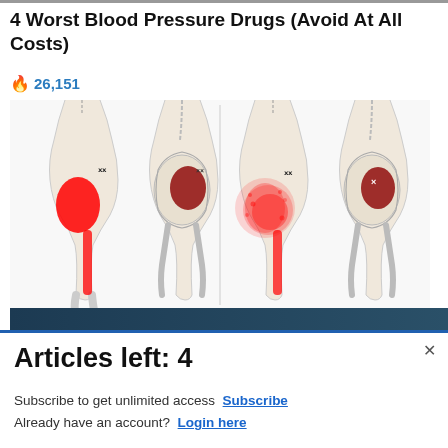4 Worst Blood Pressure Drugs (Avoid At All Costs)
🔥 26,151
[Figure (illustration): Medical illustration showing four anatomical figures (hip/pelvis and leg cross-sections) with highlighted red pain areas indicating blood pressure drug side effects — muscle and hip pain regions marked in red on skeletal/muscular anatomy.]
[Figure (photo): Advertisement banner for Commissary Click2Go service showing green bubble logo with '2GO' text, Commissary badge/seal, and partial text 'order groceries' and 'PICKUP']
Articles left: 4
Subscribe to get unlimited access  Subscribe
Already have an account?  Login here